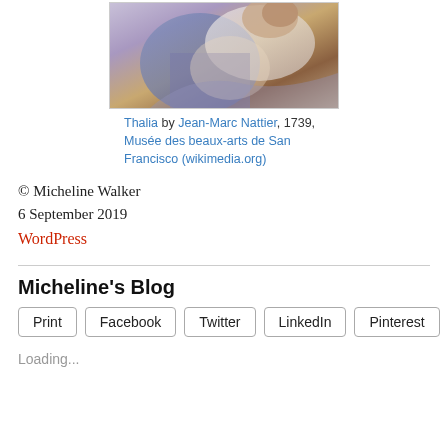[Figure (photo): Painting of a reclining figure in blue and white drapery, partial view cropped at top of page]
Thalia by Jean-Marc Nattier, 1739, Musée des beaux-arts de San Francisco (wikimedia.org)
© Micheline Walker
6 September 2019
WordPress
Micheline's Blog
Print
Facebook
Twitter
LinkedIn
Pinterest
Loading...